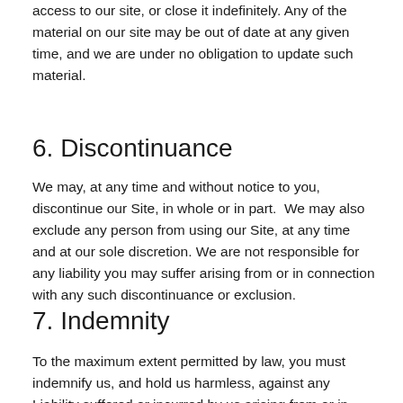access to our site, or close it indefinitely. Any of the material on our site may be out of date at any given time, and we are under no obligation to update such material.
6. Discontinuance
We may, at any time and without notice to you, discontinue our Site, in whole or in part.  We may also exclude any person from using our Site, at any time and at our sole discretion. We are not responsible for any liability you may suffer arising from or in connection with any such discontinuance or exclusion.
7. Indemnity
To the maximum extent permitted by law, you must indemnify us, and hold us harmless, against any Liability suffered or incurred by us arising from or in connection with your use of our Site or any breach of these Terms or any